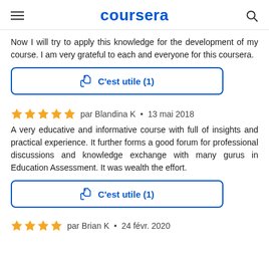coursera
Now I will try to apply this knowledge for the development of my course. I am very grateful to each and everyone for this coursera.
[Figure (other): C'est utile (1) button with thumbs up icon, blue border]
par Blandina K • 13 mai 2018
A very educative and informative course with full of insights and practical experience. It further forms a good forum for professional discussions and knowledge exchange with many gurus in Education Assessment. It was wealth the effort.
[Figure (other): C'est utile (1) button with thumbs up icon, blue border]
par Brian K • 24 févr. 2020